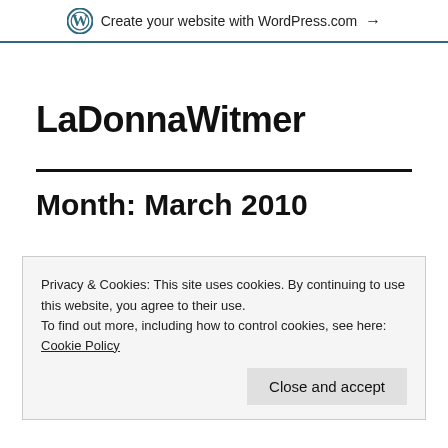Create your website with WordPress.com →
LaDonnaWitmer
Month: March 2010
Privacy & Cookies: This site uses cookies. By continuing to use this website, you agree to their use.
To find out more, including how to control cookies, see here: Cookie Policy
Close and accept